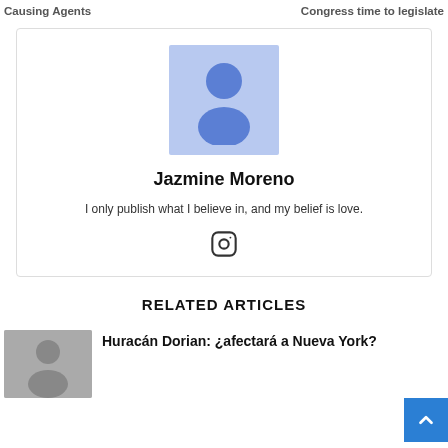Causing Agents    Congress time to legislate
[Figure (illustration): Author profile card for Jazmine Moreno with default avatar placeholder, name, bio, and Instagram icon]
Jazmine Moreno
I only publish what I believe in, and my belief is love.
RELATED ARTICLES
[Figure (photo): Thumbnail photo of a person for the related article about Huracán Dorian]
Huracán Dorian: ¿afectará a Nueva York?